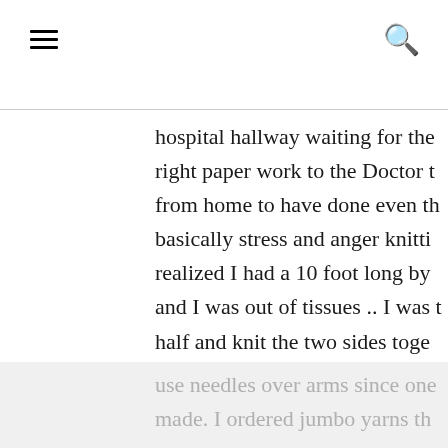≡  🔍
hospital hallway waiting for the right paper work to the Doctor t from home to have done even th basically stress and anger knitti realized I had a 10 foot long by and I was out of tissues .. I was t half and knit the two sides toge then thought well what if I just sides together on the edge open perfect foot pouch and it was hu without a back. (Not bad I think Simply Maggie videos and a vid
use needles over arms since one made. I ordered jumbo yarns th